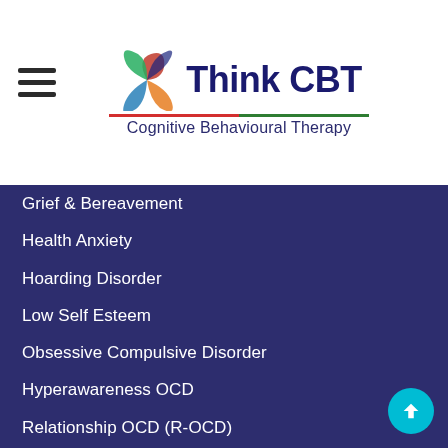[Figure (logo): Think CBT logo with swirl icon and tagline 'Cognitive Behavioural Therapy']
Grief & Bereavement
Health Anxiety
Hoarding Disorder
Low Self Esteem
Obsessive Compulsive Disorder
Hyperawareness OCD
Relationship OCD (R-OCD)
Sensorimotor OCD
Panic & Agoraphobia
Perinatal Depression
Personality Disorders
Relationship Problems